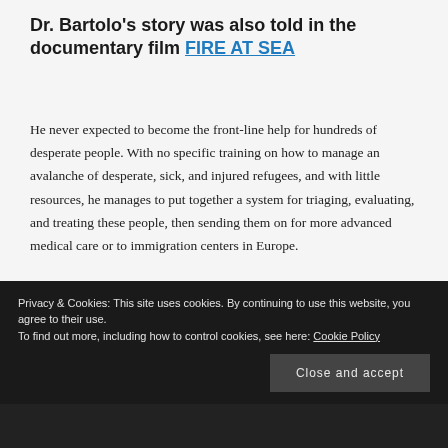Dr. Bartolo's story was also told in the documentary film FIRE AT SEA
He never expected to become the front-line help for hundreds of desperate people. With no specific training on how to manage an avalanche of desperate, sick, and injured refugees, and with little resources, he manages to put together a system for triaging, evaluating, and treating these people, then sending them on for more advanced medical care or to immigration centers in Europe.
Privacy & Cookies: This site uses cookies. By continuing to use this website, you agree to their use.
To find out more, including how to control cookies, see here: Cookie Policy